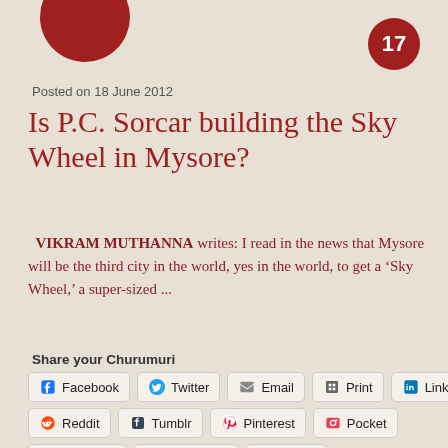Posted on 18 June 2012
Is P.C. Sorcar building the Sky Wheel in Mysore?
VIKRAM MUTHANNA writes: I read in the news that Mysore will be the third city in the world, yes in the world, to get a ‘Sky Wheel,’ a super-sized ...
Share your Churumuri
Facebook Twitter Email Print LinkedIn Reddit Tumblr Pinterest Pocket Telegram WhatsApp Skype
Like this:
Loading...